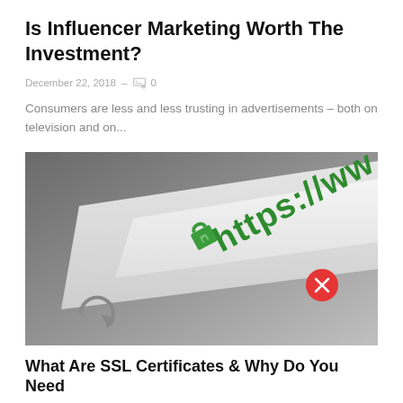Is Influencer Marketing Worth The Investment?
December 22, 2018 – 0
Consumers are less and less trusting in advertisements – both on television and on...
[Figure (photo): Close-up of a browser address bar showing 'https://ww' in green text with a green padlock icon, a red close button, and a refresh icon, on a light gray background.]
What Are SSL Certificates & Why Do You Need